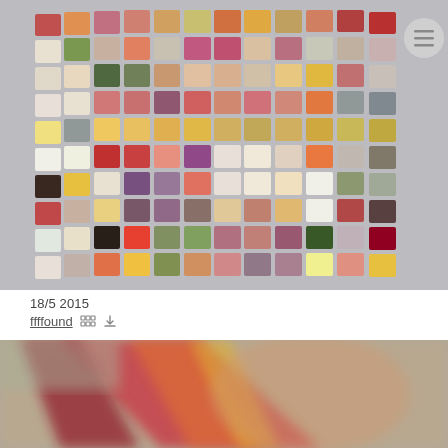[Figure (photo): Grid of colorful food cubes arranged in rows on a light gray background, showing various foods cut into uniform cube shapes with different colors including red, orange, yellow, green, white, purple, and brown.]
18/5 2015
ffffound
[Figure (photo): Blurred close-up photo of what appears to be colorful textile or fabric with red, orange, yellow and other colors in a striped or plaid pattern.]